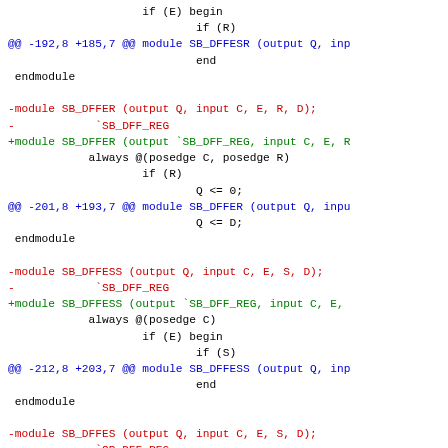Verilog diff patch showing module modifications for SB_DFFER, SB_DFFESS, SB_DFFES flip-flop modules